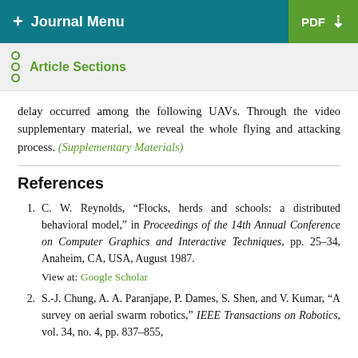+ Journal Menu | PDF
Article Sections
delay occurred among the following UAVs. Through the video supplementary material, we reveal the whole flying and attacking process. (Supplementary Materials)
References
1. C. W. Reynolds, “Flocks, herds and schools: a distributed behavioral model,” in Proceedings of the 14th Annual Conference on Computer Graphics and Interactive Techniques, pp. 25–34, Anaheim, CA, USA, August 1987.
View at: Google Scholar
2. S.-J. Chung, A. A. Paranjape, P. Dames, S. Shen, and V. Kumar, “A survey on aerial swarm robotics,” IEEE Transactions on Robotics, vol. 34, no. 4, pp. 837–855,